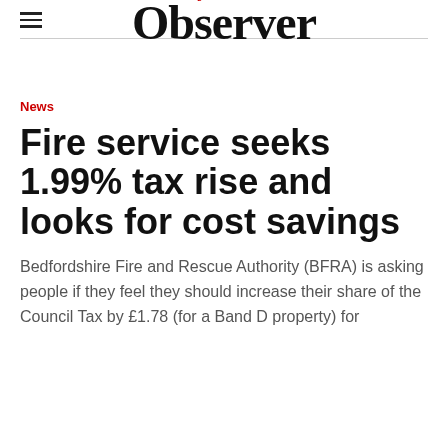Leighton Buzzard Observer
News
Fire service seeks 1.99% tax rise and looks for cost savings
Bedfordshire Fire and Rescue Authority (BFRA) is asking people if they feel they should increase their share of the Council Tax by £1.78 (for a Band D property) for